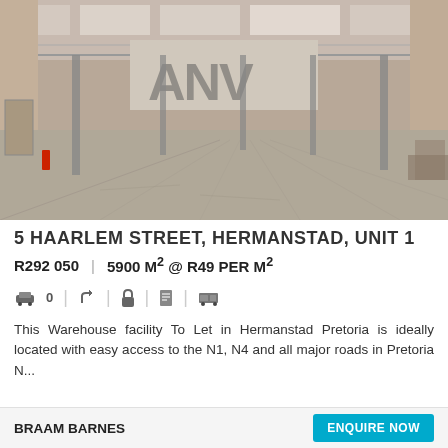[Figure (photo): Interior of a large empty warehouse with high ceiling, natural light from windows, concrete floor, and metal support columns. Letters 'ANV' partially visible in background.]
5 HAARLEM STREET, HERMANSTAD, UNIT 1
R292 050  |  5900 M² @ R49 PER M²
This Warehouse facility To Let in Hermanstad Pretoria is ideally located with easy access to the N1, N4 and all major roads in Pretoria N...
BRAAM BARNES
ENQUIRE NOW